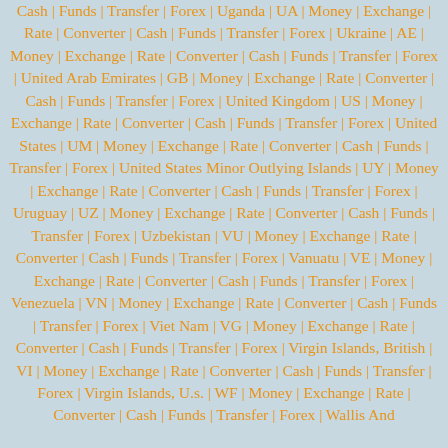Cash | Funds | Transfer | Forex | Uganda | UA | Money | Exchange | Rate | Converter | Cash | Funds | Transfer | Forex | Ukraine | AE | Money | Exchange | Rate | Converter | Cash | Funds | Transfer | Forex | United Arab Emirates | GB | Money | Exchange | Rate | Converter | Cash | Funds | Transfer | Forex | United Kingdom | US | Money | Exchange | Rate | Converter | Cash | Funds | Transfer | Forex | United States | UM | Money | Exchange | Rate | Converter | Cash | Funds | Transfer | Forex | United States Minor Outlying Islands | UY | Money | Exchange | Rate | Converter | Cash | Funds | Transfer | Forex | Uruguay | UZ | Money | Exchange | Rate | Converter | Cash | Funds | Transfer | Forex | Uzbekistan | VU | Money | Exchange | Rate | Converter | Cash | Funds | Transfer | Forex | Vanuatu | VE | Money | Exchange | Rate | Converter | Cash | Funds | Transfer | Forex | Venezuela | VN | Money | Exchange | Rate | Converter | Cash | Funds | Transfer | Forex | Viet Nam | VG | Money | Exchange | Rate | Converter | Cash | Funds | Transfer | Forex | Virgin Islands, British | VI | Money | Exchange | Rate | Converter | Cash | Funds | Transfer | Forex | Virgin Islands, U.s. | WF | Money | Exchange | Rate | Converter | Cash | Funds | Transfer | Forex | Wallis And